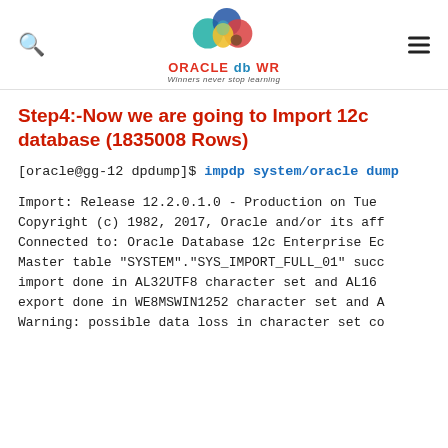ORACLE db WR — Winners never stop learning
Step4:-Now we are going to Import 12c database (1835008 Rows)
[oracle@gg-12 dpdump]$ impdp system/oracle dump...
Import: Release 12.2.0.1.0 - Production on Tue
Copyright (c) 1982, 2017, Oracle and/or its af...
Connected to: Oracle Database 12c Enterprise Ec...
Master table "SYSTEM"."SYS_IMPORT_FULL_01" succ...
import done in AL32UTF8 character set and AL16...
export done in WE8MSWIN1252 character set and A...
Warning: possible data loss in character set co...